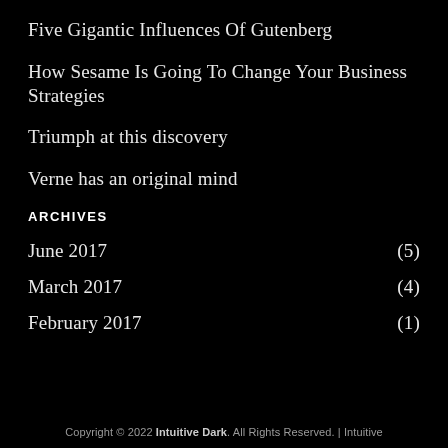Five Gigantic Influences Of Gutenberg
How Sesame Is Going To Change Your Business Strategies
Triumph at this discovery
Verne has an original mind
ARCHIVES
June 2017 (5)
March 2017 (4)
February 2017 (1)
Copyright © 2022 Intuitive Dark. All Rights Reserved. | Intuitive